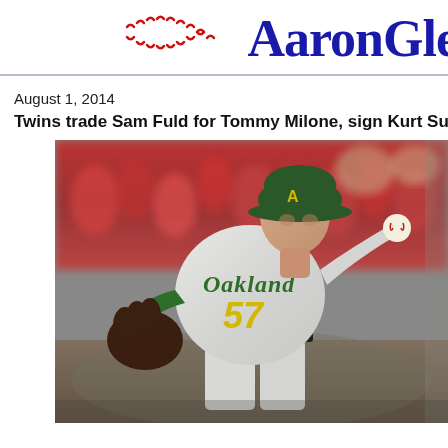AronGle (AaronGle...) - baseball logo header
August 1, 2014
Twins trade Sam Fuld for Tommy Milone, sign Kurt Su
[Figure (photo): Oakland A's pitcher number 57 Tommy Milone in gray Oakland jersey in pitching wind-up stance, red-clad crowd in background]